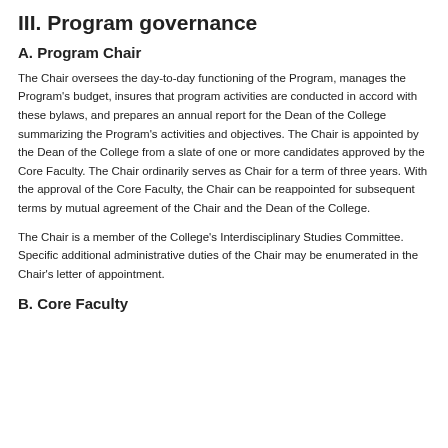III. Program governance
A. Program Chair
The Chair oversees the day-to-day functioning of the Program, manages the Program's budget, insures that program activities are conducted in accord with these bylaws, and prepares an annual report for the Dean of the College summarizing the Program's activities and objectives. The Chair is appointed by the Dean of the College from a slate of one or more candidates approved by the Core Faculty. The Chair ordinarily serves as Chair for a term of three years. With the approval of the Core Faculty, the Chair can be reappointed for subsequent terms by mutual agreement of the Chair and the Dean of the College.
The Chair is a member of the College's Interdisciplinary Studies Committee. Specific additional administrative duties of the Chair may be enumerated in the Chair's letter of appointment.
B. Core Faculty